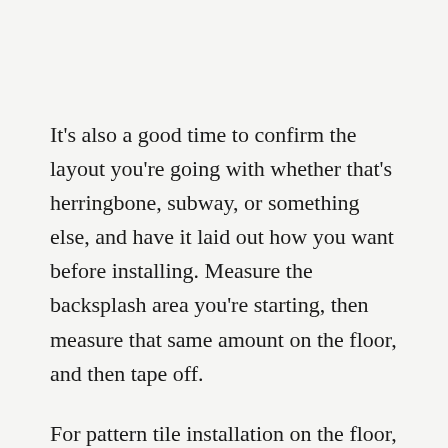It’s also a good time to confirm the layout you’re going with whether that’s herringbone, subway, or something else, and have it laid out how you want before installing. Measure the backsplash area you’re starting, then measure that same amount on the floor, and then tape off.
For pattern tile installation on the floor, find the center of the room where you are going to start with the focal point of the design. For a central rug-like design, measure the area to be tiled, and find the center of two opposite walls or sides.
Use these points to snap a chalk line across the